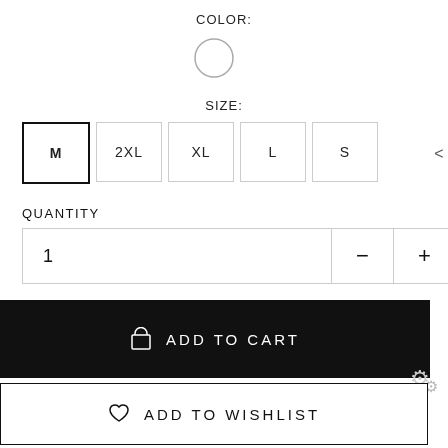COLOR:
[Figure (illustration): A circle outline representing a color swatch selection (white/empty color option)]
SIZE:
M  2XL  XL  L  S
QUANTITY
1
ADD TO CART
ADD TO WISHLIST